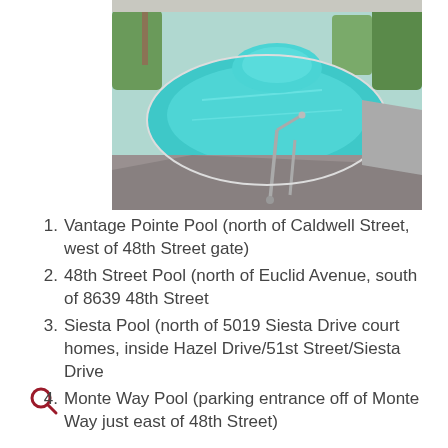[Figure (photo): Outdoor swimming pool with blue water, metal handrail, and surrounding concrete deck with trees in background]
1. Vantage Pointe Pool (north of Caldwell Street, west of 48th Street gate)
2. 48th Street Pool (north of Euclid Avenue, south of 8639 48th Street
3. Siesta Pool (north of 5019 Siesta Drive court homes, inside Hazel Drive/51st Street/Siesta Drive
4.  Monte Way Pool (parking entrance off of Monte Way just east of 48th Street)